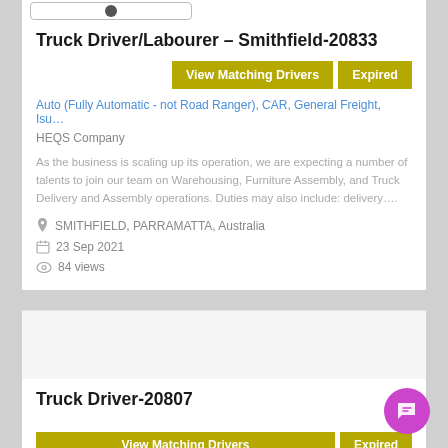[Figure (logo): Company logo in a rounded rectangle box at top]
Truck Driver/Labourer – Smithfield-20833
View Matching Drivers | Expired
Auto (Fully Automatic - not Road Ranger), CAR, General Freight, Isu…
HEQS Company
As the business is scaling up its operation, we are expecting a number of talents to join our team on Warehousing, Furniture Assembly, and Truck Delivery and Assembly operations. Duties may also include: delivery….
SMITHFIELD, PARRAMATTA, Australia
23 Sep 2021
84 views
Truck Driver-20807